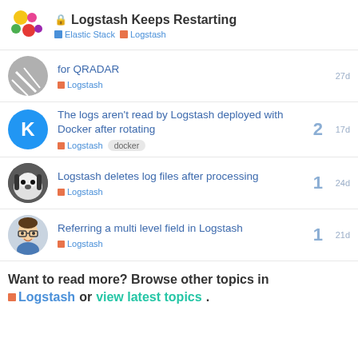Logstash Keeps Restarting — Elastic Stack > Logstash
for QRADAR — Logstash — 27d
The logs aren't read by Logstash deployed with Docker after rotating — Logstash, docker — 2 replies — 17d
Logstash deletes log files after processing — Logstash — 1 reply — 24d
Referring a multi level field in Logstash — Logstash — 1 reply — 21d
Want to read more? Browse other topics in Logstash or view latest topics.